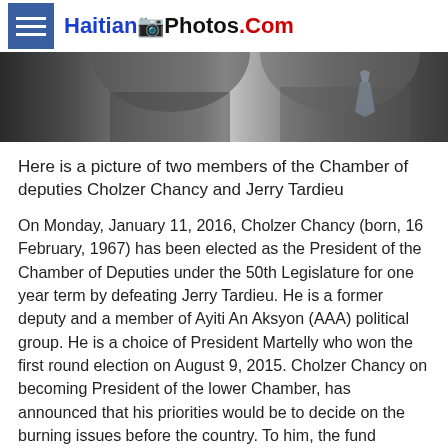HaitianPhotos.Com
[Figure (photo): Photo strip showing two members of the Chamber of Deputies, Cholzer Chancy and Jerry Tardieu, cropped to show upper body/torsos]
Here is a picture of two members of the Chamber of deputies Cholzer Chancy and Jerry Tardieu
On Monday, January 11, 2016, Cholzer Chancy (born, 16 February, 1967) has been elected as the President of the Chamber of Deputies under the 50th Legislature for one year term by defeating Jerry Tardieu. He is a former deputy and a member of Ayiti An Aksyon (AAA) political group. He is a choice of President Martelly who won the first round election on August 9, 2015. Cholzer Chancy on becoming President of the lower Chamber, has announced that his priorities would be to decide on the burning issues before the country. To him, the fund allotments under the budgets should be done with proper prudence and effective measures to control budget expenditures should be strictly adhered to. He believes that it is the responsibility of the